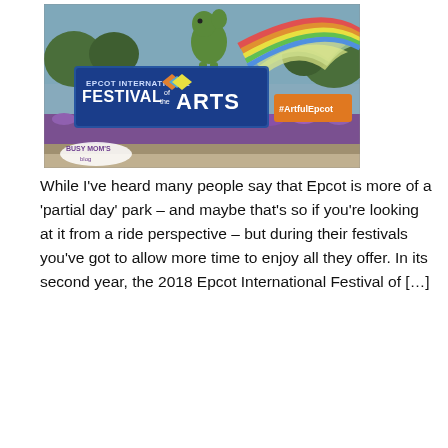[Figure (photo): Photo of Epcot International Festival of the Arts signage with colorful rainbow arch decorations, flower beds, and a Busy Mom's Blog watermark in the lower left corner. The sign reads 'EPCOT INTERNATIONAL FESTIVAL of the ARTS' and there is a hashtag '#ArtfulEpcot' sign visible.]
While I've heard many people say that Epcot is more of a 'partial day' park – and maybe that's so if you're looking at it from a ride perspective – but during their festivals you've got to allow more time to enjoy all they offer. In its second year, the 2018 Epcot International Festival of […]